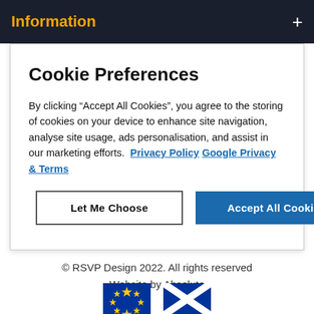Information
Cookie Preferences
By clicking “Accept All Cookies”, you agree to the storing of cookies on your device to enhance site navigation, analyse site usage, ads personalisation, and assist in our marketing efforts.  Privacy Policy  Google Privacy & Terms
Let Me Choose
Accept All Cookies
© RSVP Design 2022. All rights reserved
Website by Absolute
[Figure (illustration): EU flag and Scottish flag icons at bottom of page]